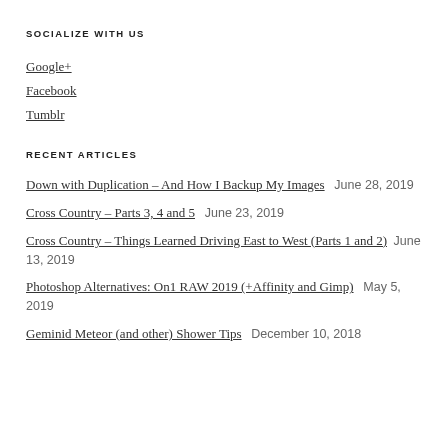SOCIALIZE WITH US
Google+
Facebook
Tumblr
RECENT ARTICLES
Down with Duplication – And How I Backup My Images   June 28, 2019
Cross Country – Parts 3, 4 and 5   June 23, 2019
Cross Country – Things Learned Driving East to West (Parts 1 and 2)   June 13, 2019
Photoshop Alternatives: On1 RAW 2019 (+Affinity and Gimp)   May 5, 2019
Geminid Meteor (and other) Shower Tips   December 10, 2018